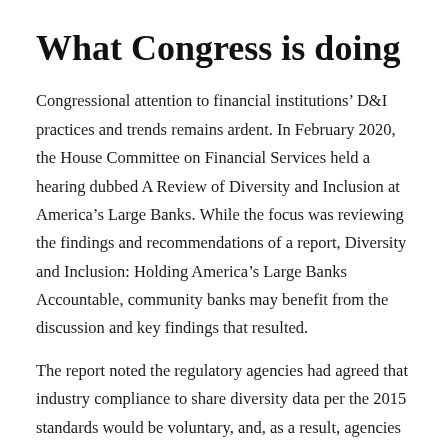What Congress is doing
Congressional attention to financial institutions’ D&I practices and trends remains ardent. In February 2020, the House Committee on Financial Services held a hearing dubbed A Review of Diversity and Inclusion at America’s Large Banks. While the focus was reviewing the findings and recommendations of a report, Diversity and Inclusion: Holding America’s Large Banks Accountable, community banks may benefit from the discussion and key findings that resulted.
The report noted the regulatory agencies had agreed that industry compliance to share diversity data per the 2015 standards would be voluntary, and, as a result, agencies have received limited information from their regulated entities.
For Committee on Financial Services review, banks, bank holding companies and savings and loan holding companies